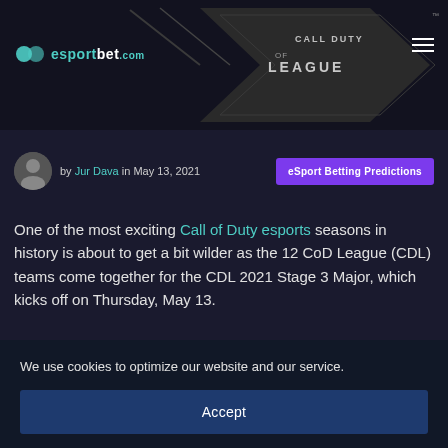[Figure (screenshot): Dark hero banner with esportbet.com logo on left, Call of Duty League logo/branding in center-right, hamburger menu icon on right. Grey geometric CDL chevron shapes visible.]
by Jur Dava in May 13, 2021
eSport Betting Predictions
One of the most exciting Call of Duty esports seasons in history is about to get a bit wilder as the 12 CoD League (CDL) teams come together for the CDL 2021 Stage 3 Major, which kicks off on Thursday, May 13.
We use cookies to optimize our website and our service.
Accept